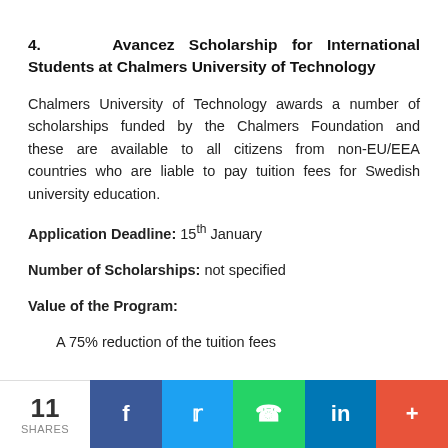4.   Avancez Scholarship for International Students at Chalmers University of Technology
Chalmers University of Technology awards a number of scholarships funded by the Chalmers Foundation and these are available to all citizens from non-EU/EEA countries who are liable to pay tuition fees for Swedish university education.
Application Deadline: 15th January
Number of Scholarships: not specified
Value of the Program:
A 75% reduction of the tuition fees
11 SHARES | Facebook | Twitter | WhatsApp | LinkedIn | More